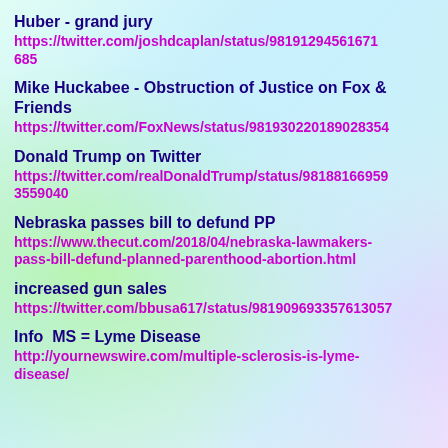Huber - grand jury
https://twitter.com/joshdcaplan/status/981912945616711685
Mike Huckabee - Obstruction of Justice on Fox & Friends
https://twitter.com/FoxNews/status/981930220189028354
Donald Trump on Twitter
https://twitter.com/realDonaldTrump/status/981881669593559040
Nebraska passes bill to defund PP
https://www.thecut.com/2018/04/nebraska-lawmakers-pass-bill-defund-planned-parenthood-abortion.html
increased gun sales
https://twitter.com/bbusa617/status/981909693357613057
Info  MS = Lyme Disease
http://yournewswire.com/multiple-sclerosis-is-lyme-disease/